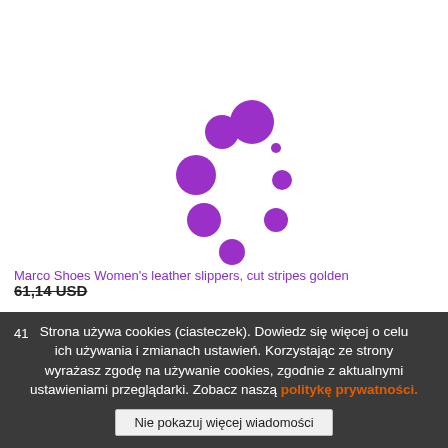[Figure (other): Purple loading spinner animation — circular arrangement of purple dots of varying sizes on white background]
Marco Shoes Women's leather slippers, cut stripes golden
61,14 USD
Strona używa cookies (ciasteczek). Dowiedz się więcej o celu ich używania i zmianach ustawień. Korzystając ze strony wyrażasz zgodę na używanie cookies, zgodnie z aktualnymi ustawieniami przeglądarki. Zobacz naszą politykę prywatności.
Nie pokazuj więcej wiadomości